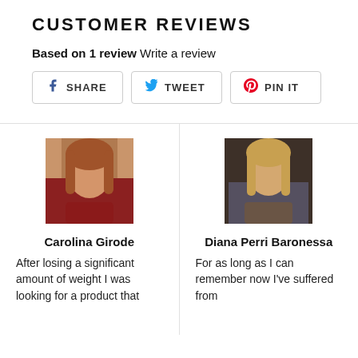CUSTOMER REVIEWS
Based on 1 review Write a review
[Figure (other): Social share buttons: SHARE (Facebook), TWEET (Twitter), PIN IT (Pinterest)]
[Figure (photo): Photo of Carolina Girode, a woman with reddish-brown hair wearing a dark red top]
Carolina Girode
After losing a significant amount of weight I was looking for a product that
[Figure (photo): Photo of Diana Perri Baronessa, a blonde woman in a patterned dress]
Diana Perri Baronessa
For as long as I can remember now I've suffered from